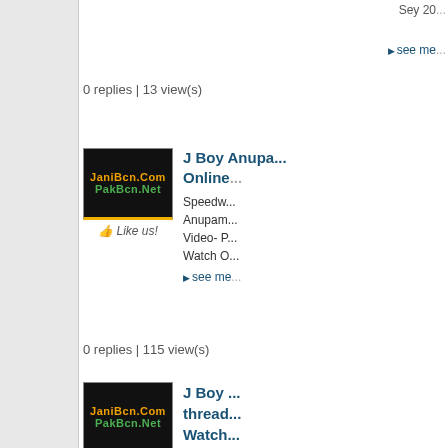0 replies | 13 view(s)
[Figure (screenshot): JaniBcn.Com PakBcn.Net avatar with Like us! button]
J Boy ... Anupa... Online...
Speedw... Anupam... Video- P... Watch O...
▶see me...
0 replies | 115 view(s)
[Figure (screenshot): JaniBcn.Com PakBcn.Net avatar with Like us! button]
J Boy ... thread... Watch... Rip in...
Dobaar... Online A... JaniBcn... Movies.
▶see me...
0 replies | 5215 view(s)